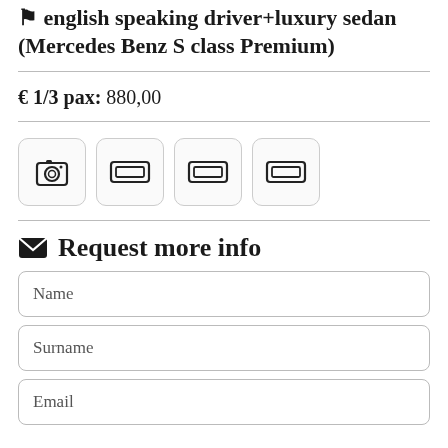english speaking driver+luxury sedan (Mercedes Benz S class Premium)
€ 1/3 pax: 880,00
[Figure (infographic): Four icon boxes in a row: camera icon, ticket/screen icon, ticket/screen icon, ticket/screen icon]
Request more info
Name
Surname
Email